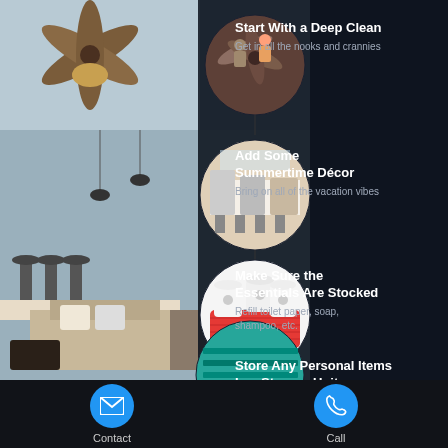[Figure (infographic): Home rental preparation tips infographic with circular photos and tip text on dark background]
Start With a Deep Clean
Get in all the nooks and crannies
Add Some Summertime Décor
Bring on all of the vacation vibes
Make Sure the Essentials Are Stocked
Refill toilet paper, soap, shampoo, etc.
Store Any Personal Items In a Storage Unit
Keep your own belongings safe and secure
Contact
Call